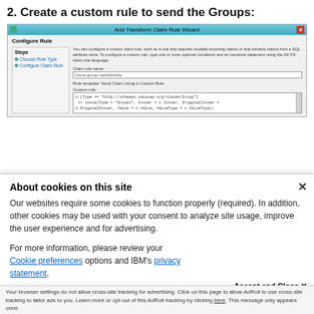2. Create a custom rule to send the Groups:
[Figure (screenshot): Screenshot of the 'Add Transform Claim Rule Wizard' dialog showing Configure Rule step with custom rule code for issuing group membership claims]
About cookies on this site
Our websites require some cookies to function properly (required). In addition, other cookies may be used with your consent to analyze site usage, improve the user experience and for advertising.
For more information, please review your Cookie preferences options and IBM's privacy statement.
Accept and Close ✕
Your browser settings do not allow cross-site tracking for advertising. Click on this page to allow AdRoll to use cross-site tracking to tailor ads to you. Learn more or opt out of this AdRoll tracking by clicking here. This message only appears once.